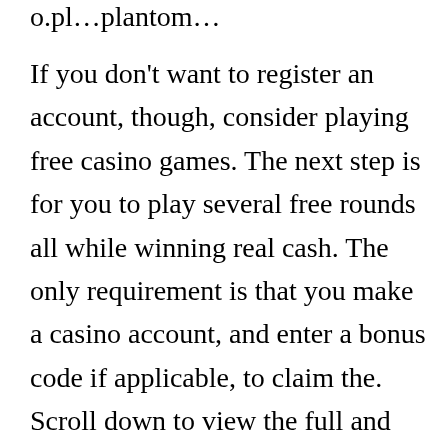…o.pl…plantom…
If you don't want to register an account, though, consider playing free casino games. The next step is for you to play several free rounds all while winning real cash. The only requirement is that you make a casino account, and enter a bonus code if applicable, to claim the. Scroll down to view the full and most updated list of online casinos who offer real cash free spins for new players with no deposit required. Get your free tools and [CLOSE] o earn now!